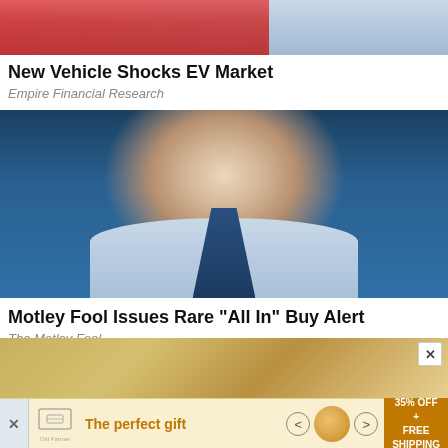[Figure (photo): Partial top image showing red and light blue/grey tones, cropped at top]
New Vehicle Shocks EV Market
Empire Financial Research
[Figure (photo): Man in light blue shirt and dark tie gesturing with hands, standing in front of financial trading screens]
Motley Fool Issues Rare "All In" Buy Alert
The Motley Fool
[Figure (photo): Advertisement banner: The perfect gift, 35% OFF + FREE SHIPPING, with food imagery and navigation arrows]